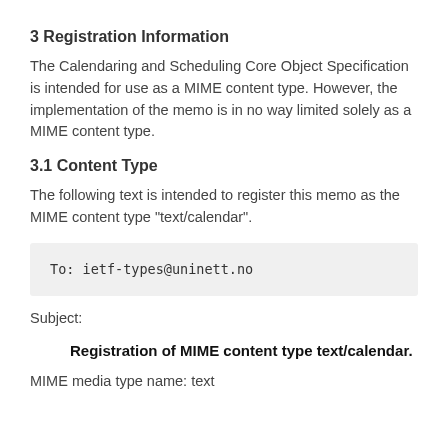3 Registration Information
The Calendaring and Scheduling Core Object Specification is intended for use as a MIME content type. However, the implementation of the memo is in no way limited solely as a MIME content type.
3.1 Content Type
The following text is intended to register this memo as the MIME content type "text/calendar".
To: ietf-types@uninett.no
Subject:
Registration of MIME content type text/calendar.
MIME media type name: text